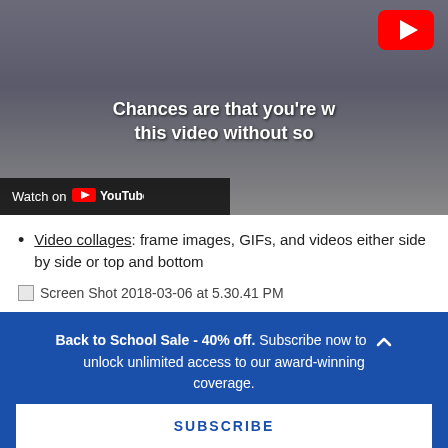[Figure (screenshot): YouTube video embed thumbnail showing two people sitting, with white bold text overlay reading 'Chances are that you're v this video without so' and a 'Watch on YouTube' bar at bottom left, with YouTube logo at top right.]
Video collages: frame images, GIFs, and videos either side by side or top and bottom
[Figure (screenshot): Broken image placeholder with alt text 'Screen Shot 2018-03-06 at 5.30.41 PM']
Back to School Sale - 40% off. Subscribe now to unlock unlimited access to our award-winning coverage.
SUBSCRIBE